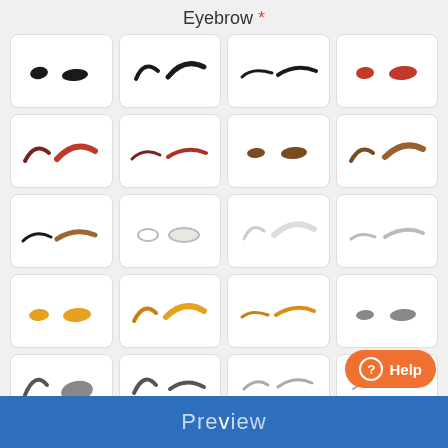Eyebrow *
[Figure (illustration): Grid of eyebrow style options for avatar customization, showing 5 rows x 4 columns of eyebrow pairs in various colors: black, dark brown, red/maroon, brown, tan, white/light, yellow/gold, gray. Bottom row partially visible. Blue preview bar at bottom. Orange help button bottom right.]
Preview